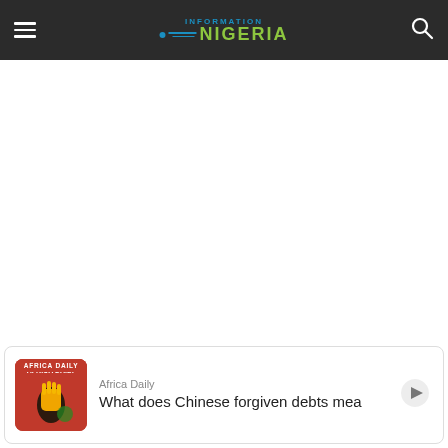Information Nigeria
[Figure (other): Large white advertisement or blank content area below header]
[Figure (other): Africa Daily podcast card with thumbnail showing fist and Africa image, title: What does Chinese forgiven debts mea]
Africa Daily
What does Chinese forgiven debts mea